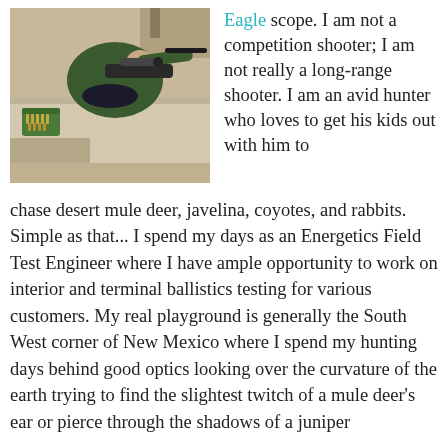[Figure (photo): Overhead view of a person in green jacket lying prone aiming a rifle with a scope at a shooting range; green ammunition box with bullets visible to the left on a concrete bench.]
Eagle scope.  I am not a competition shooter; I am not really a long-range shooter.  I am an avid hunter who loves to get his kids out with him to chase desert mule deer, javelina, coyotes, and rabbits.  Simple as that... I spend my days as an Energetics Field Test Engineer where I have ample opportunity to work on interior and terminal ballistics testing for various customers.  My real playground is generally the South West corner of New Mexico where I spend my hunting days behind good optics looking over the curvature of the earth trying to find the slightest twitch of a mule deer's ear or pierce through the shadows of a juniper